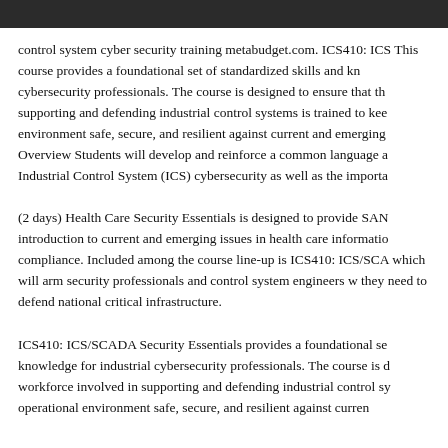control system cyber security training metabudget.com. ICS410: ICS This course provides a foundational set of standardized skills and knowledge for cybersecurity professionals. The course is designed to ensure that the workforce supporting and defending industrial control systems is trained to keep the environment safe, secure, and resilient against current and emerging threats. Overview Students will develop and reinforce a common language and understanding of Industrial Control System (ICS) cybersecurity as well as the importance of
(2 days) Health Care Security Essentials is designed to provide SANS introduction to current and emerging issues in health care information compliance. Included among the course line-up is ICS410: ICS/SCADA which will arm security professionals and control system engineers with what they need to defend national critical infrastructure.
ICS410: ICS/SCADA Security Essentials provides a foundational set of knowledge for industrial cybersecurity professionals. The course is designed for workforce involved in supporting and defending industrial control systems operational environment safe, secure, and resilient against current...